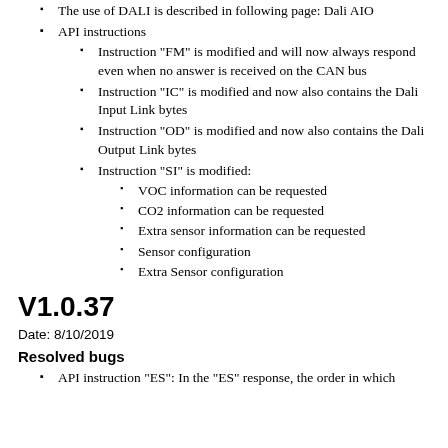The use of DALI is described in following page: Dali AIO
API instructions
Instruction "FM" is modified and will now always respond even when no answer is received on the CAN bus
Instruction "IC" is modified and now also contains the Dali Input Link bytes
Instruction "OD" is modified and now also contains the Dali Output Link bytes
Instruction "SI" is modified:
VOC information can be requested
CO2 information can be requested
Extra sensor information can be requested
Sensor configuration
Extra Sensor configuration
V1.0.37
Date: 8/10/2019
Resolved bugs
API instruction "ES": In the "ES" response, the order in which